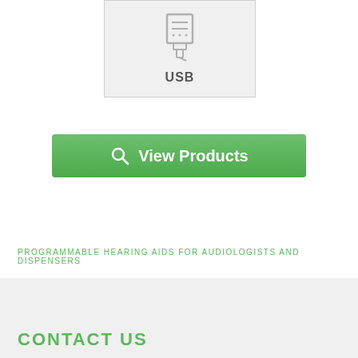[Figure (illustration): USB icon inside a light gray bordered box with label 'USB' below the icon]
[Figure (infographic): Green rounded button with magnifying glass search icon and text 'View Products']
PROGRAMMABLE HEARING AIDS FOR AUDIOLOGISTS AND DISPENSERS
CONTACT US